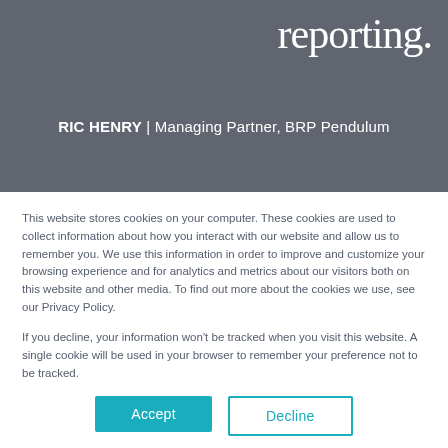reporting.
RIC HENRY | Managing Partner, BRP Pendulum
This website stores cookies on your computer. These cookies are used to collect information about how you interact with our website and allow us to remember you. We use this information in order to improve and customize your browsing experience and for analytics and metrics about our visitors both on this website and other media. To find out more about the cookies we use, see our Privacy Policy.
If you decline, your information won't be tracked when you visit this website. A single cookie will be used in your browser to remember your preference not to be tracked.
Accept
Decline